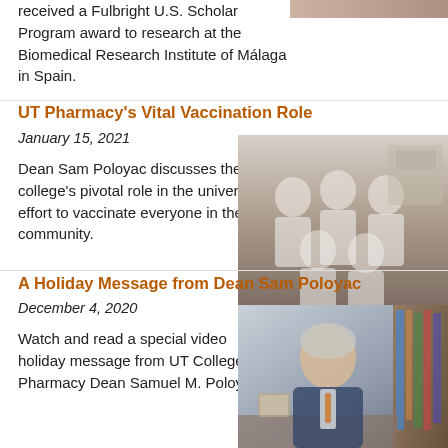received a Fulbright U.S. Scholar Program award to research at the Biomedical Research Institute of Málaga in Spain.
[Figure (photo): Partial photo visible at top right corner of page]
UT Pharmacy's Vital Vaccination Role
January 15, 2021
Dean Sam Poloyac discusses the college's pivotal role in the university's effort to vaccinate everyone in the UT community.
[Figure (photo): Group photo of pharmacy staff in white coats and masks in a storage/vaccination area]
A Holiday Message from Dean Sam Poloyac
December 4, 2020
Watch and read a special video holiday message from UT College of Pharmacy Dean Samuel M. Poloyac.
[Figure (photo): Portrait photo of Dean Samuel M. Poloyac seated at a desk]